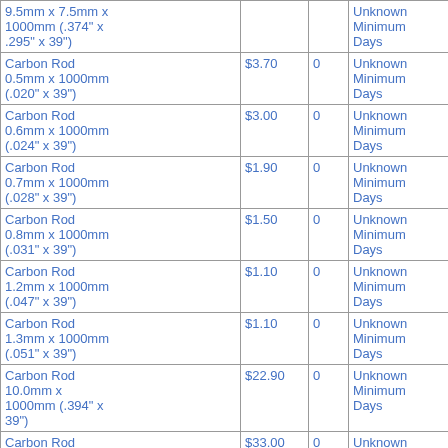| Product | Price | Stock | Availability |
| --- | --- | --- | --- |
| 9.5mm x 7.5mm x 1000mm (.374" x .295" x 39") |  |  | Unknown Minimum Days |
| Carbon Rod 0.5mm x 1000mm (.020" x 39") | $3.70 | 0 | Unknown Minimum Days |
| Carbon Rod 0.6mm x 1000mm (.024" x 39") | $3.00 | 0 | Unknown Minimum Days |
| Carbon Rod 0.7mm x 1000mm (.028" x 39") | $1.90 | 0 | Unknown Minimum Days |
| Carbon Rod 0.8mm x 1000mm (.031" x 39") | $1.50 | 0 | Unknown Minimum Days |
| Carbon Rod 1.2mm x 1000mm (.047" x 39") | $1.10 | 0 | Unknown Minimum Days |
| Carbon Rod 1.3mm x 1000mm (.051" x 39") | $1.10 | 0 | Unknown Minimum Days |
| Carbon Rod 10.0mm x 1000mm (.394" x 39") | $22.90 | 0 | Unknown Minimum Days |
| Carbon Rod 12.0mm x 1000mm (.472" x 39") | $33.00 | 0 | Unknown Minimum Days |
| Carbon Rod 14.0mm x 1000mm (.551" x ... | $48.19 | 0 | Unknown Minimum Days |